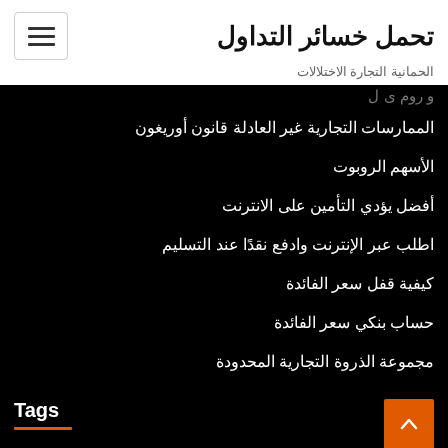تحمل خسائر التداول
الحمانية التجارة الاختلالات
الممارسات التجارية غير العادلة قانون أوريغون
الأسهم الروبوت
أفضل يؤدي التأمين على الانترنت
اطلب عبر الإنترنت وادفع نقدًا عند التسليم
كيفية قفل سعر الفائدة
حساب بنكي سعر الفائدة
مجموعة الذروة التجارية المحدودة
Tags